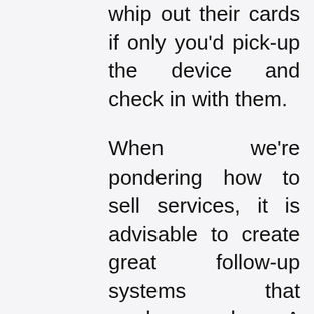whip out their cards if only you'd pick-up the device and check in with them.
When we're pondering how to sell services, it is advisable to create great follow-up systems that produce sales. A clear list of steps you adopt to follow-up with someone that expressed